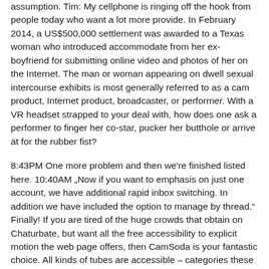assumption. Tim: My cellphone is ringing off the hook from people today who want a lot more provide. In February 2014, a US$500,000 settlement was awarded to a Texas woman who introduced accommodate from her ex-boyfriend for submitting online video and photos of her on the Internet. The man or woman appearing on dwell sexual intercourse exhibits is most generally referred to as a cam product, Internet product, broadcaster, or performer. With a VR headset strapped to your deal with, how does one ask a performer to finger her co-star, pucker her butthole or arrive at for the rubber fist?
8:43PM One more problem and then we're finished listed here. 10:40AM „Now if you want to emphasis on just one account, we have additional rapid inbox switching. In addition we have included the option to manage by thread.“ Finally! If you are tired of the huge crowds that obtain on Chaturbate, but want all the free accessibility to explicit motion the web page offers, then CamSoda is your fantastic choice. All kinds of tubes are accessible – categories these kinds of as „MILF,“ „teen ager,“ „oral sex,“ „BDSM,“ „femdom,“ „pitail,“ „creampie,“ „BBW,“ and „anything else“ is all provided less than the Custom Category. Redtube finest cost-free sex